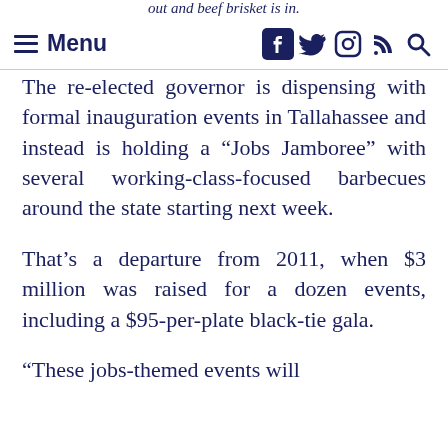Menu
The re-elected governor is dispensing with formal inauguration events in Tallahassee and instead is holding a “Jobs Jamboree” with several working-class-focused barbecues around the state starting next week.
That’s a departure from 2011, when $3 million was raised for a dozen events, including a $95-per-plate black-tie gala.
“These jobs-themed events will